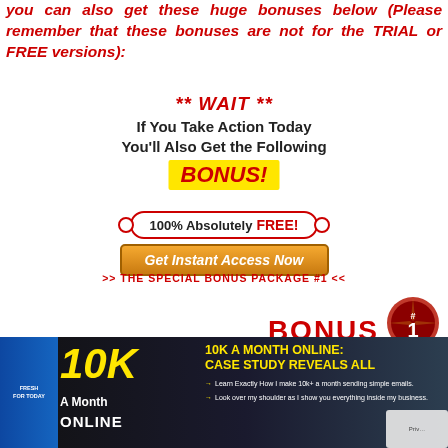you can also get these huge bonuses below (Please remember that these bonuses are not for the TRIAL or FREE versions):
** WAIT ** If You Take Action Today You'll Also Get the Following BONUS!
[Figure (infographic): 100% Absolutely FREE! Get Instant Access Now button with decorative border]
>> THE SPECIAL BONUS PACKAGE #1 <<
[Figure (infographic): BONUS #1 badge and product box for 10K A Month Online: Case Study Reveals All, with bullet points about learning to make 10k a month sending simple emails and looking over shoulder tutorial]